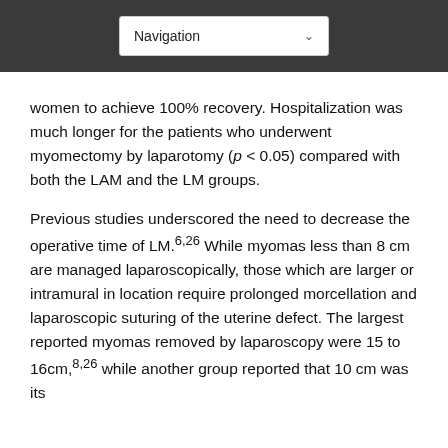Navigation
women to achieve 100% recovery. Hospitalization was much longer for the patients who underwent myomectomy by laparotomy (p < 0.05) compared with both the LAM and the LM groups.

Previous studies underscored the need to decrease the operative time of LM.6,26 While myomas less than 8 cm are managed laparoscopically, those which are larger or intramural in location require prolonged morcellation and laparoscopic suturing of the uterine defect. The largest reported myomas removed by laparoscopy were 15 to 16cm,8,26 while another group reported that 10 cm was its